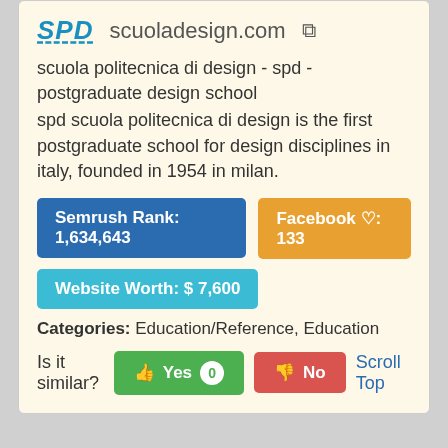SPD   scuoladesign.com
scuola politecnica di design - spd - postgraduate design school
spd scuola politecnica di design is the first postgraduate school for design disciplines in italy, founded in 1954 in milan.
Semrush Rank: 1,634,643
Facebook ♡: 133
Website Worth: $ 7,600
Categories: Education/Reference, Education
Is it similar?  Yes 0  No
Scroll Top